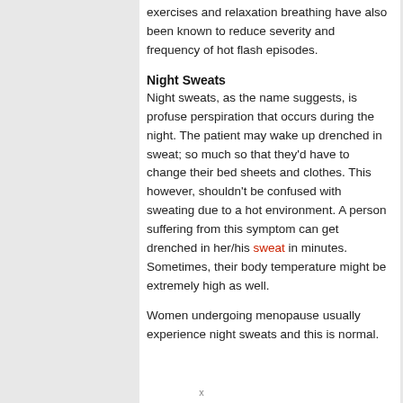exercises and relaxation breathing have also been known to reduce severity and frequency of hot flash episodes.
Night Sweats
Night sweats, as the name suggests, is profuse perspiration that occurs during the night. The patient may wake up drenched in sweat; so much so that they'd have to change their bed sheets and clothes. This however, shouldn't be confused with sweating due to a hot environment. A person suffering from this symptom can get drenched in her/his sweat in minutes. Sometimes, their body temperature might be extremely high as well.
Women undergoing menopause usually experience night sweats and this is normal.
x